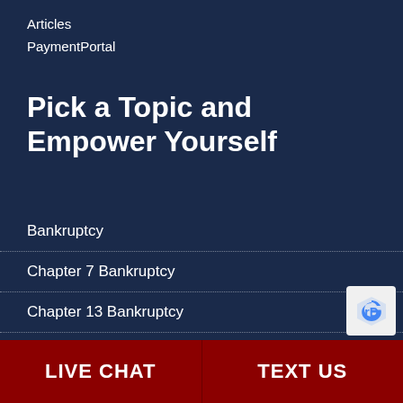Articles
PaymentPortal
Pick a Topic and Empower Yourself
Bankruptcy
Chapter 7 Bankruptcy
Chapter 13 Bankruptcy
Child Custody
Child Support
LIVE CHAT   TEXT US